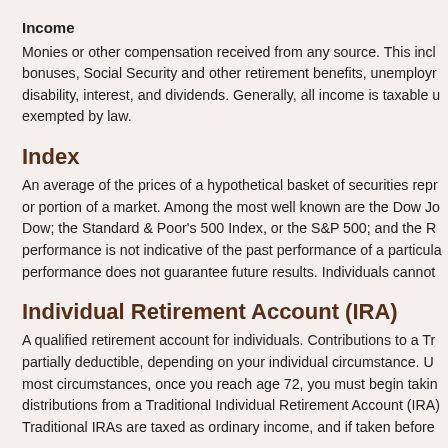Income
Monies or other compensation received from any source. This incl bonuses, Social Security and other retirement benefits, unemployr disability, interest, and dividends. Generally, all income is taxable u exempted by law.
Index
An average of the prices of a hypothetical basket of securities repr or portion of a market. Among the most well known are the Dow Jo Dow; the Standard & Poor's 500 Index, or the S&P 500; and the R performance is not indicative of the past performance of a particula performance does not guarantee future results. Individuals cannot
Individual Retirement Account (IRA)
A qualified retirement account for individuals. Contributions to a Tr partially deductible, depending on your individual circumstance. U most circumstances, once you reach age 72, you must begin takin distributions from a Traditional Individual Retirement Account (IRA) Traditional IRAs are taxed as ordinary income, and if taken before